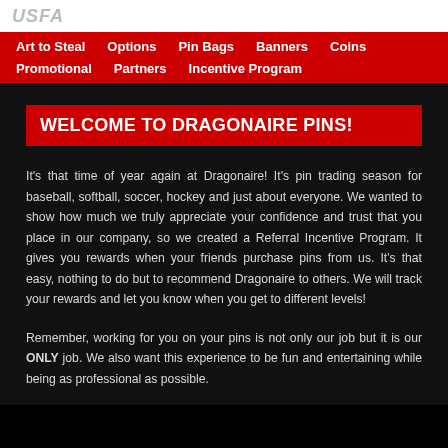USFA
Art to Steal  Options  Pin Bags  Banners  Coins  Promotional  Partners  Incentive Program
WELCOME TO DRAGONAIRE PINS!
It's that time of year again at Dragonaire! It's pin trading season for baseball, softball, soccer, hockey and just about everyone. We wanted to show how much we truly appreciate your confidence and trust that you place in our company, so we created a Referral Incentive Program. It gives you rewards when your friends purchase pins from us. It's that easy, nothing to do but to recommend Dragonaire to others. We will track your rewards and let you know when you get to different levels!
Remember, working for you on your pins is not only our job but it is our ONLY job. We also want this experience to be fun and entertaining while being as professional as possible.